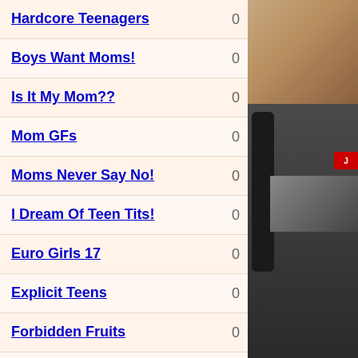Hardcore Teenagers  0
Boys Want Moms!  0
Is It My Mom??  0
Mom GFs  0
Moms Never Say No!  0
I Dream Of Teen Tits!  0
Euro Girls 17  0
Explicit Teens  0
Forbidden Fruits  0
Little Tongues  0
Lighthouse Teenies  0
Lil Angels  0
[Figure (photo): Photo thumbnail on right side top]
[Figure (screenshot): Dark panel screenshot on right side bottom]